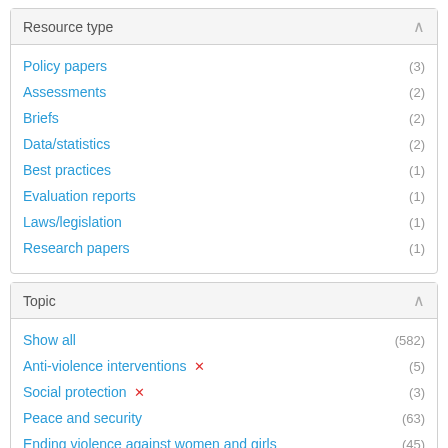Resource type
Policy papers (3)
Assessments (2)
Briefs (2)
Data/statistics (2)
Best practices (1)
Evaluation reports (1)
Laws/legislation (1)
Research papers (1)
Topic
Show all (582)
Anti-violence interventions ✕ (5)
Social protection ✕ (3)
Peace and security (63)
Ending violence against women and girls (45)
Economic empowerment (41)